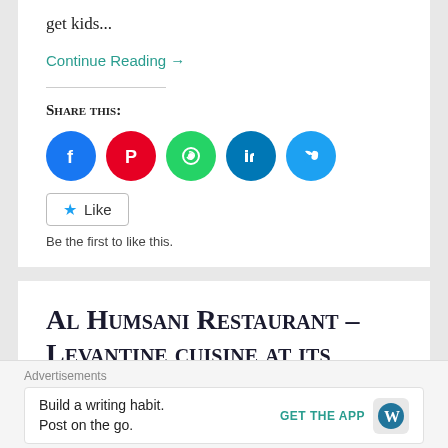get kids...
Continue Reading →
Share this:
[Figure (infographic): Five social sharing buttons: Facebook (blue circle), Pinterest (red circle), WhatsApp (green circle), LinkedIn (dark blue circle), Twitter (light blue circle)]
Like
Be the first to like this.
Al Humsani Restaurant – Levantine cuisine at its
Advertisements
Build a writing habit. Post on the go.
GET THE APP